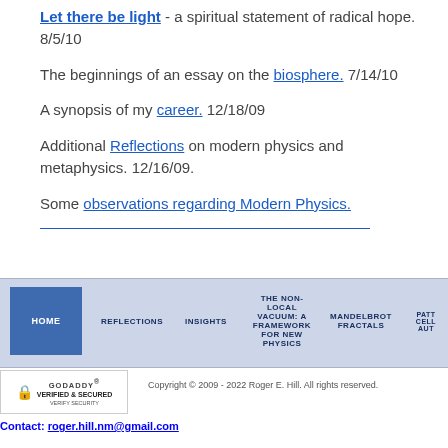Let there be light - a spiritual statement of radical hope. 8/5/10
The beginnings of an essay on the biosphere. 7/14/10
A synopsis of my career. 12/18/09
Additional Reflections on modern physics and metaphysics. 12/16/09.
Some observations regarding Modern Physics.
[Figure (screenshot): Website navigation bar with blue HOME button and nav items: REFLECTIONS, INSIGHTS, THE NON-LOCAL VACUUM: A FRAMEWORK FOR NEW PHYSICS, MANDELBROT FRACTALS, PATT CEL AUT]
[Figure (logo): GoDaddy Verified & Secured badge with lock icon and VERIFY SECURITY text]
Copyright © 2009 - 2022 Roger E. Hill. All rights reserved.
Contact: roger.hill.nm@gmail.com